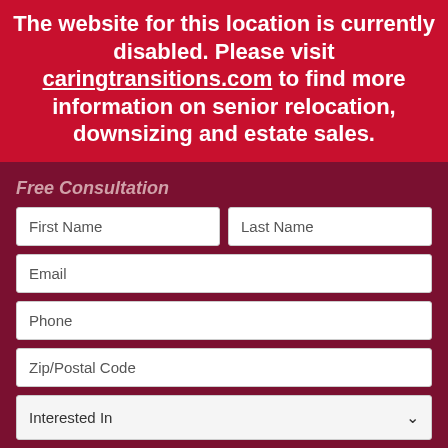The website for this location is currently disabled. Please visit caringtransitions.com to find more information on senior relocation, downsizing and estate sales.
Free Consultation
[Figure (screenshot): Web form with fields: First Name, Last Name, Email, Phone, Zip/Postal Code, Interested In dropdown, How did you hear about us dropdown, and reCAPTCHA checkbox]
I'm not a robot
reCAPTCHA